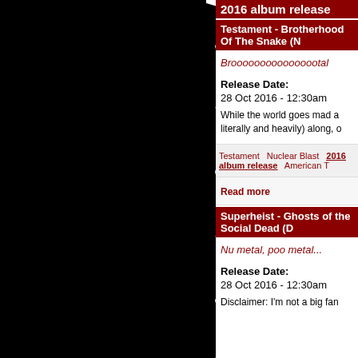2016 album release
Testament - Brotherhood Of The Snake (N...
Broooooooooooooootal
Release Date:
28 Oct 2016 - 12:30am
While the world goes mad a... literally and heavily) along, o...
Testament   Nuclear Blast   2016 album release   American T...
Read more
Superheist - Ghosts of the Social Dead (D...
Nu metal, poo metal...
Release Date:
28 Oct 2016 - 12:30am
Disclaimer: I'm not a big fan...